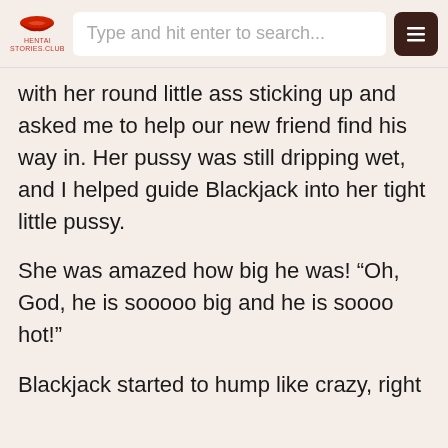Type and hit enter to search...
with her round little ass sticking up and asked me to help our new friend find his way in. Her pussy was still dripping wet, and I helped guide Blackjack into her tight little pussy.
She was amazed how big he was! “Oh, God, he is sooooo big and he is soooo hot!”
Blackjack started to hump like crazy, right